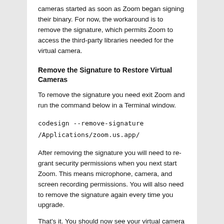cameras started as soon as Zoom began signing their binary. For now, the workaround is to remove the signature, which permits Zoom to access the third-party libraries needed for the virtual camera.
Remove the Signature to Restore Virtual Cameras
To remove the signature you need exit Zoom and run the command below in a Terminal window.
After removing the signature you will need to re-grant security permissions when you next start Zoom. This means microphone, camera, and screen recording permissions. You will also need to remove the signature again every time you upgrade.
That's it. You should now see your virtual camera in Zoom.